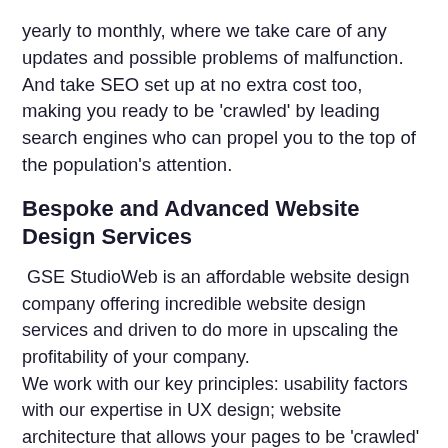yearly to monthly, where we take care of any updates and possible problems of malfunction. And take SEO set up at no extra cost too, making you ready to be 'crawled' by leading search engines who can propel you to the top of the population's attention.
Bespoke and Advanced Website Design Services
GSE StudioWeb is an affordable website design company offering incredible website design services and driven to do more in upscaling the profitability of your company.
We work with our key principles: usability factors with our expertise in UX design; website architecture that allows your pages to be 'crawled' properly by a search engine; high-quality content that conveys a precise message efficiently and provides value; and expert redesign where our teams work closely together to ensure that any changes to your website preserve your SEO value.
All website services designed for mobile, tablet and desktop...